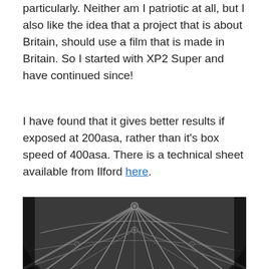Not that this had any bearing on my choice particularly. Neither am I patriotic at all, but I also like the idea that a project that is about Britain, should use a film that is made in Britain. So I started with XP2 Super and have continued since!
I have found that it gives better results if exposed at 200asa, rather than it's box speed of 400asa. There is a technical sheet available from Ilford here.
[Figure (photo): Black and white photograph looking up at Gothic cathedral vaulted ceiling with fan vaulting ribs converging at ornate bosses, symmetrical architectural view]